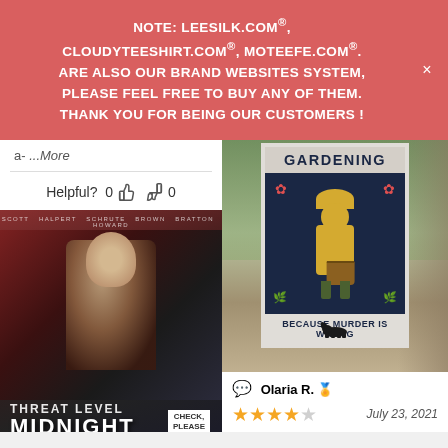NOTE: LEESILK.COM®, CLOUDYTEESHIRT.COM®, MOTEEFE.COM®. ARE ALSO OUR BRAND WEBSITES SYSTEM, PLEASE FEEL FREE TO BUY ANY OF THEM. THANK YOU FOR BEING OUR CUSTOMERS !
a- ...More
Helpful?  0  0
[Figure (photo): Threat Level Midnight movie poster print on fabric/flag showing Michael Scott character pointing gun, with text 'THREAT LEVEL MIDNIGHT' and 'CHECK. PLEASE.' in bottom corner]
[Figure (photo): Gardening flag with text 'GARDENING BECAUSE MURDER IS WRONG' hanging outdoors, showing stylized gardener figure, with a black dog standing beneath it]
Olaria R. July 23, 2021
4 out of 5 stars